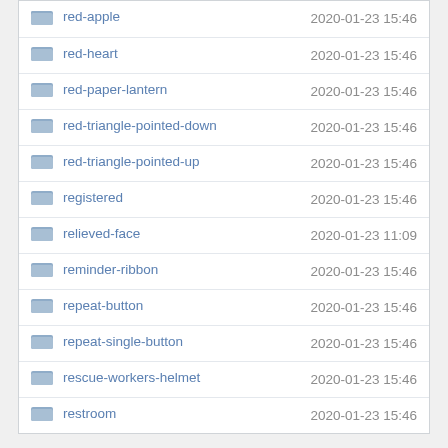| Name | Date |
| --- | --- |
| red-apple | 2020-01-23 15:46 |
| red-heart | 2020-01-23 15:46 |
| red-paper-lantern | 2020-01-23 15:46 |
| red-triangle-pointed-down | 2020-01-23 15:46 |
| red-triangle-pointed-up | 2020-01-23 15:46 |
| registered | 2020-01-23 15:46 |
| relieved-face | 2020-01-23 11:09 |
| reminder-ribbon | 2020-01-23 15:46 |
| repeat-button | 2020-01-23 15:46 |
| repeat-single-button | 2020-01-23 15:46 |
| rescue-workers-helmet | 2020-01-23 15:46 |
| restroom | 2020-01-23 15:46 |